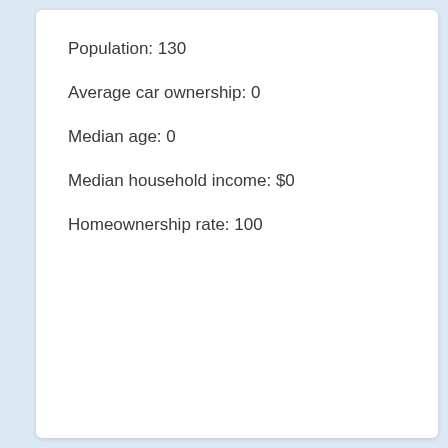Population: 130
Average car ownership: 0
Median age: 0
Median household income: $0
Homeownership rate: 100